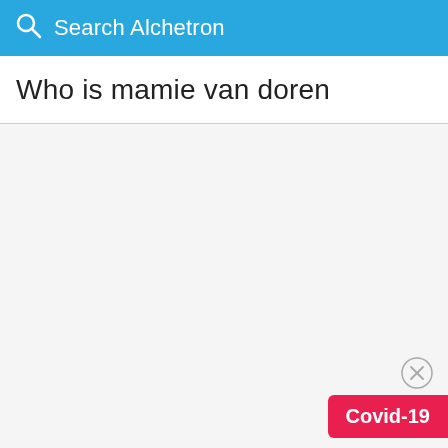Search Alchetron
Who is mamie van doren
Covid-19